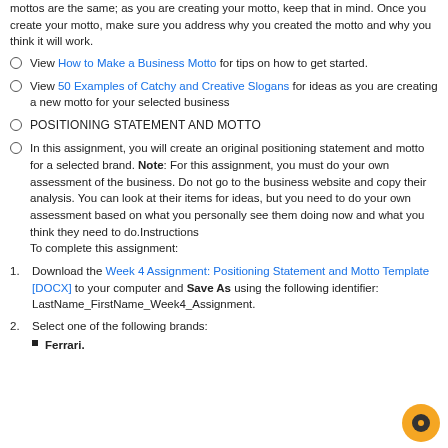mottos are the same; as you are creating your motto, keep that in mind. Once you create your motto, make sure you address why you created the motto and why you think it will work.
View How to Make a Business Motto for tips on how to get started.
View 50 Examples of Catchy and Creative Slogans for ideas as you are creating a new motto for your selected business
POSITIONING STATEMENT AND MOTTO
In this assignment, you will create an original positioning statement and motto for a selected brand. Note: For this assignment, you must do your own assessment of the business. Do not go to the business website and copy their analysis. You can look at their items for ideas, but you need to do your own assessment based on what you personally see them doing now and what you think they need to do.Instructions
To complete this assignment:
Download the Week 4 Assignment: Positioning Statement and Motto Template [DOCX] to your computer and Save As using the following identifier: LastName_FirstName_Week4_Assignment.
Select one of the following brands:
Ferrari.